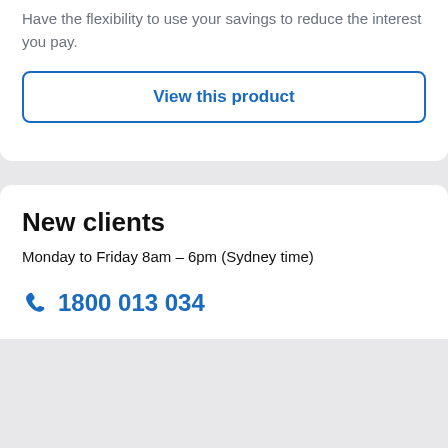Have the flexibility to use your savings to reduce the interest you pay.
View this product
New clients
Monday to Friday 8am – 6pm (Sydney time)
1800 013 034